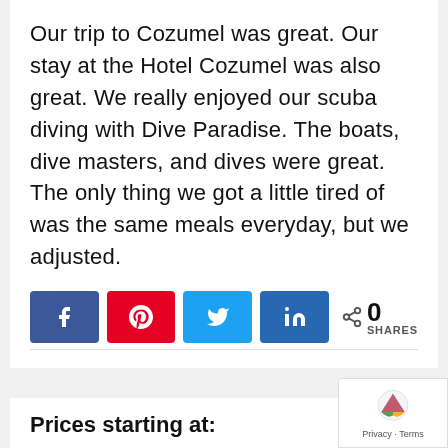Our trip to Cozumel was great. Our stay at the Hotel Cozumel was also great. We really enjoyed our scuba diving with Dive Paradise. The boats, dive masters, and dives were great. The only thing we got a little tired of was the same meals everyday, but we adjusted.
[Figure (infographic): Social share buttons: Facebook (blue), Pinterest (red), Twitter (light blue), LinkedIn (dark blue), and a share count showing 0 SHARES]
Prices starting at:
[Figure (logo): reCAPTCHA badge with Privacy - Terms text]